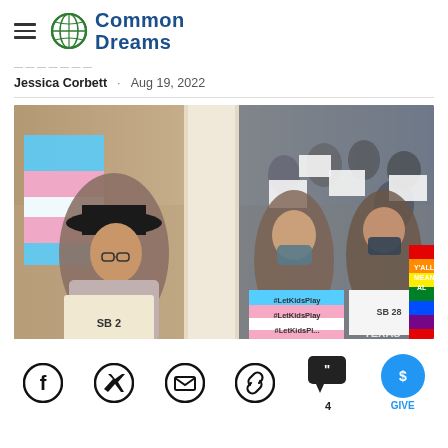Common Dreams
Jessica Corbett · Aug 19, 2022
[Figure (photo): Protesters inside a government building holding signs reading 'SB 2', '#LetKidsPlay', and 'SB 28', with a transgender pride flag visible on the left. People are wearing masks and filling stairs in the background.]
Social share icons: Facebook, Twitter, Email, Link, Comment (4), Give